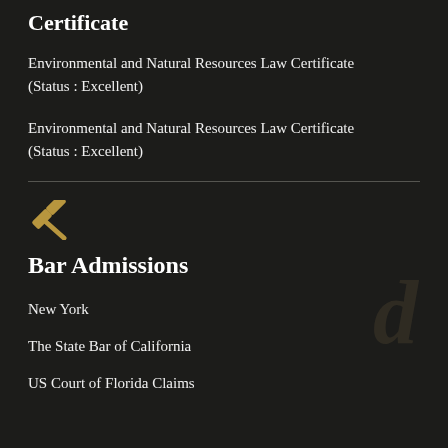Certificate
Environmental and Natural Resources Law Certificate (Status : Excellent)
Environmental and Natural Resources Law Certificate (Status : Excellent)
[Figure (illustration): Gold gavel icon representing bar admissions section]
Bar Admissions
New York
The State Bar of California
US Court of Florida Claims